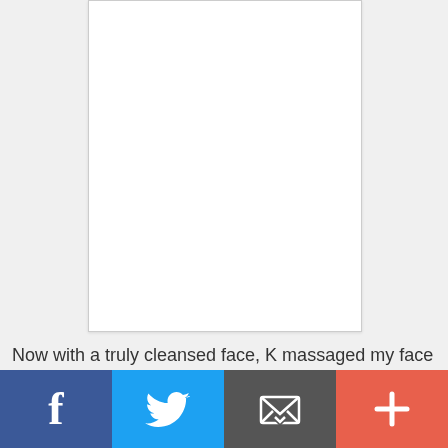[Figure (photo): White blank image placeholder with light border]
Now with a truly cleansed face, K massaged my face with no.2 massage cream which is uniquely formulated to nourish the skin with natural mineral oils without leaving greasy
[Figure (other): Social sharing bar with Facebook, Twitter, Email, and Plus buttons]